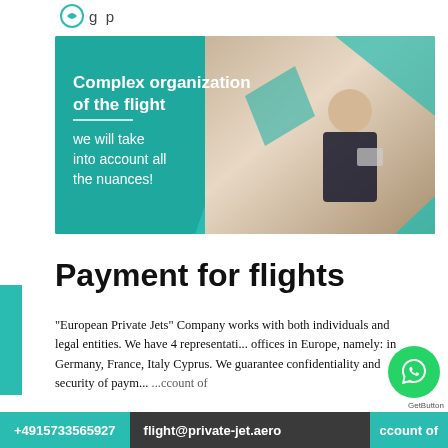g p
[Figure (photo): Banner image of a private jet interior with a woman sitting in a leather seat using a tablet, overlaid with teal geometric shapes and white text reading 'Complex organization of the flight — we will take into account all the nuances!']
Payment for flights
"European Private Jets" Company works with both individuals and legal entities. We have 4 representative offices in Europe, namely: in Germany, France, Italy, Cyprus. We guarantee confidentiality and security of paym... ...ccount of
+4915733565927   flight@private-jet.aero   ccount of